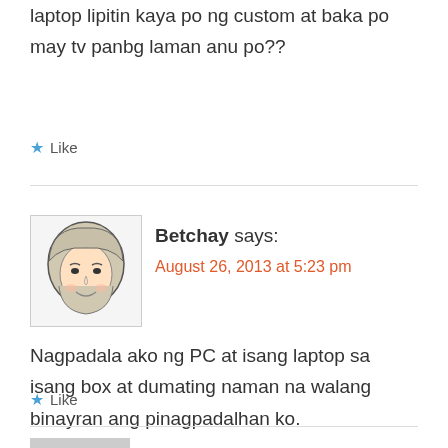laptop lipitin kaya po ng custom at baka po may tv panbg laman anu po??
Like
[Figure (illustration): Cartoon/caricature avatar of a person wearing a hijab, drawn in sketch style]
Betchay says:
August 26, 2013 at 5:23 pm
Nagpadala ako ng PC at isang laptop sa isang box at dumating naman na walang binayran ang pinagpadalhan ko.
Like